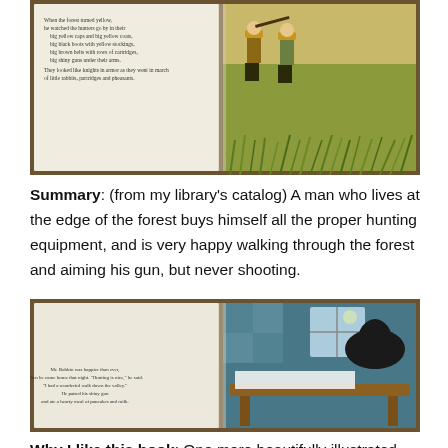[Figure (photo): Photo of an open children's picture book spread. Left page has text about hunters in yellow coats. Right page shows an illustration of hunters with guns walking through a field of tall grass.]
Summary: (from my library's catalog) A man who lives at the edge of the forest buys himself all the proper hunting equipment, and is very happy walking through the forest and aiming his gun, but never shooting.
[Figure (photo): Photo of an open children's picture book spread. Left page has text: 'Mr. Bobbin was happier than ever, when he came home that night. "Hunting is nice," he said. "I had a wonderful walk down the valley." He patted his shiny gun and ate a hearty meal of pancakes and milk.' Right page shows a colorful interior scene with decorative patterned wallpaper, a window with a moon, a table with items including what appears to be a hat.]
Why I like this book: One more beautifully illustrated classic for April, but and this one is new to me. I identify